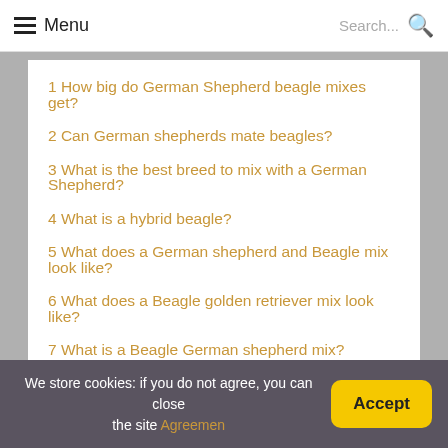Menu | Search...
1 How big do German Shepherd beagle mixes get?
2 Can German shepherds mate beagles?
3 What is the best breed to mix with a German Shepherd?
4 What is a hybrid beagle?
5 What does a German shepherd and Beagle mix look like?
6 What does a Beagle golden retriever mix look like?
7 What is a Beagle German shepherd mix?
8 What is a dachshund Beagle mix called?
9 Are Shepradors protective?
10 What 2 breeds make a German Shepherd?
11 How can I tell what my German Shepherd is mixed with?
12 What is a cheagle puppy?
We store cookies: if you do not agree, you can close the site Agreemen